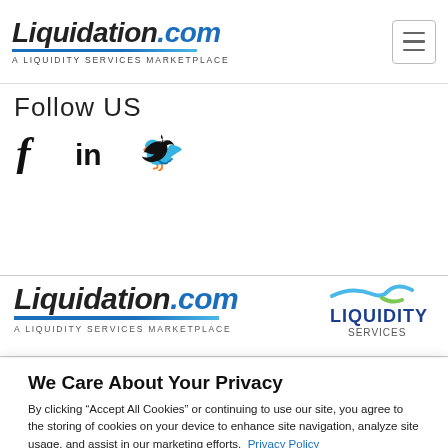[Figure (logo): Liquidation.com logo with tagline 'A LIQUIDITY SERVICES MARKETPLACE' and hamburger menu icon]
Follow US
[Figure (other): Social media icons: Facebook (f), LinkedIn (in), Twitter (bird/check)]
[Figure (logo): Liquidation.com logo with tagline 'A LIQUIDITY SERVICES MARKETPLACE']
[Figure (logo): Liquidity Services logo]
We Care About Your Privacy
By clicking “Accept All Cookies” or continuing to use our site, you agree to the storing of cookies on your device to enhance site navigation, analyze site usage, and assist in our marketing efforts.  Privacy Policy
Customize Settings
Accept All Cookies